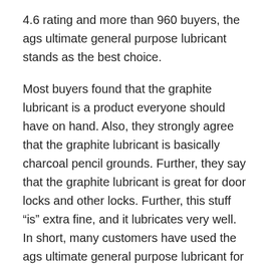4.6 rating and more than 960 buyers, the ags ultimate general purpose lubricant stands as the best choice.
Most buyers found that the graphite lubricant is a product everyone should have on hand. Also, they strongly agree that the graphite lubricant is basically charcoal pencil grounds. Further, they say that the graphite lubricant is great for door locks and other locks. Further, this stuff “is” extra fine, and it lubricates very well. In short, many customers have used the ags ultimate general purpose lubricant for more than few months without any issues, and it shows no sign of giving up.